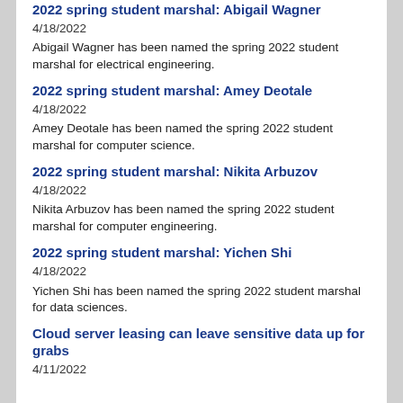2022 spring student marshal: Abigail Wagner
4/18/2022
Abigail Wagner has been named the spring 2022 student marshal for electrical engineering.
2022 spring student marshal: Amey Deotale
4/18/2022
Amey Deotale has been named the spring 2022 student marshal for computer science.
2022 spring student marshal: Nikita Arbuzov
4/18/2022
Nikita Arbuzov has been named the spring 2022 student marshal for computer engineering.
2022 spring student marshal: Yichen Shi
4/18/2022
Yichen Shi has been named the spring 2022 student marshal for data sciences.
Cloud server leasing can leave sensitive data up for grabs
4/11/2022